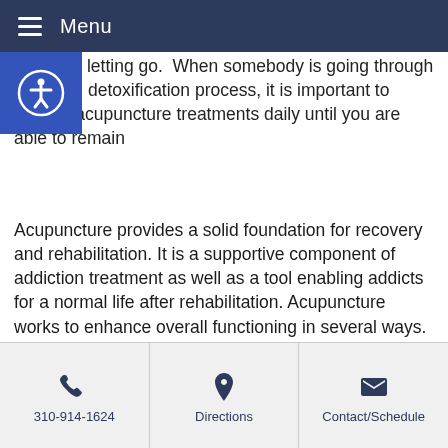Menu
grief and letting go.  When somebody is going through the initial detoxification process, it is important to receive acupuncture treatments daily until you are able to remain
Acupuncture provides a solid foundation for recovery and rehabilitation. It is a supportive component of addiction treatment as well as a tool enabling addicts for a normal life after rehabilitation. Acupuncture works to enhance overall functioning in several ways. Because it is nonverbal, it helps reach patients that are resistant to change. It has been shown to reduce anxiety and agitation. And it helps develop an inner meditative state in those who are fearful or severely troubled.
Acupuncture for addiction and substance abuse offers a
310-914-1624  Directions  Contact/Schedule